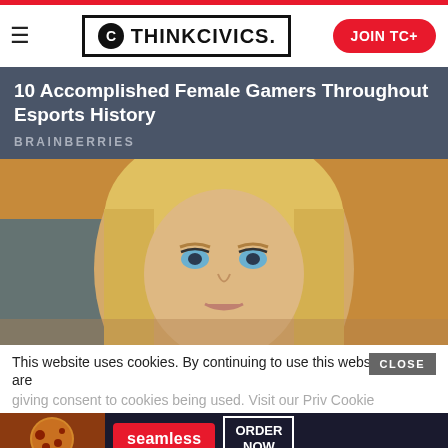ThinkCivics. — JOIN TC+
10 Accomplished Female Gamers Throughout Esports History
BRAINBERRIES
[Figure (photo): Close-up photo of a young blonde woman with blue eyes looking forward, warm orange-toned background]
This website uses cookies. By continuing to use this website you are giving consent to cookies being used. Visit our Priv Cookie
[Figure (screenshot): Bottom advertisement bar with pizza image, Seamless logo, and ORDER NOW button]